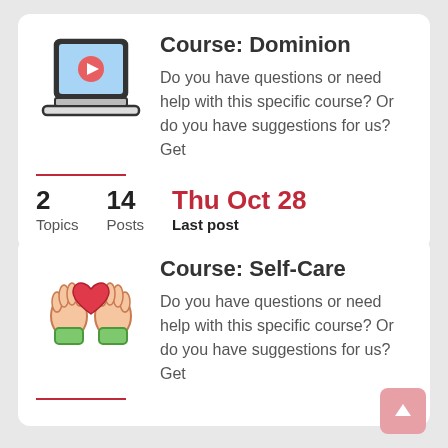[Figure (illustration): Laptop computer icon with a video play button on a blue screen, black outline style]
Course: Dominion
Do you have questions or need help with this specific course? Or do you have suggestions for us? Get
2 Topics   14 Posts   Thu Oct 28 Last post
[Figure (illustration): Two hands holding a red heart icon, self-care illustration]
Course: Self-Care
Do you have questions or need help with this specific course? Or do you have suggestions for us? Get